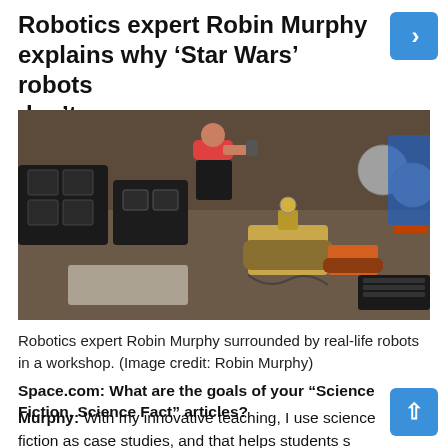Robotics expert Robin Murphy explains why ‘Star Wars’ robots don’t…
[Figure (photo): Robotics expert Robin Murphy surrounded by real-life robots in a workshop, including tracked ground robots and various equipment cases.]
Robotics expert Robin Murphy surrounded by real-life robots in a workshop. (Image credit: Robin Murphy)
Space.com: What are the goals of your “Science Fiction, Science Fact” articles?
Murphy: With my innovative teaching, I use science fiction as case studies, and that helps students s more complex ecosystem than just worrying ab